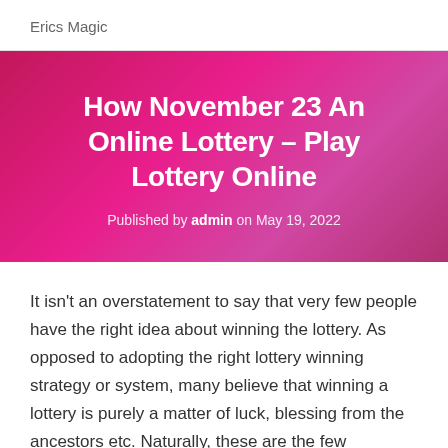Erics Magic
How November 23 An Online Lottery – Play Lottery Online
Published by admin on May 19, 2022
It isn't an overstatement to say that very few people have the right idea about winning the lottery. As opposed to adopting the right lottery winning strategy or system, many believe that winning a lottery is purely a matter of luck, blessing from the ancestors etc. Naturally, these are the few